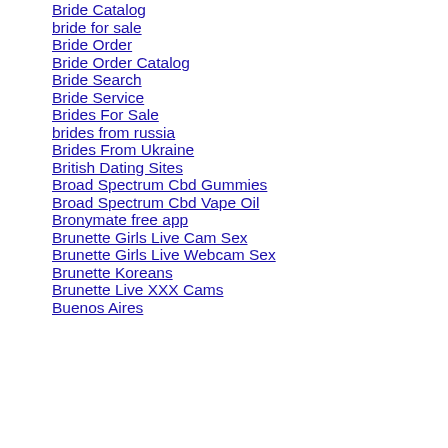Bride Catalog
bride for sale
Bride Order
Bride Order Catalog
Bride Search
Bride Service
Brides For Sale
brides from russia
Brides From Ukraine
British Dating Sites
Broad Spectrum Cbd Gummies
Broad Spectrum Cbd Vape Oil
Bronymate free app
Brunette Girls Live Cam Sex
Brunette Girls Live Webcam Sex
Brunette Koreans
Brunette Live XXX Cams
Buenos Aires